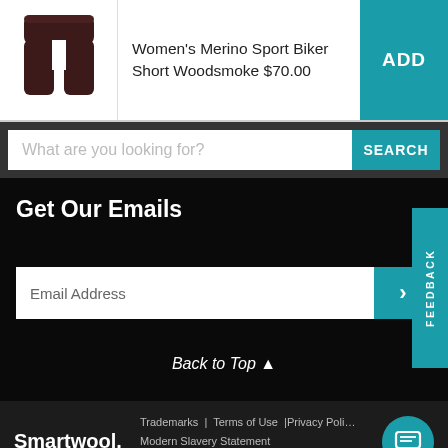[Figure (photo): Product image of Women's Merino Sport Biker Short in Woodsmoke (dark maroon color)]
Women's Merino Sport Biker Short Woodsmoke $70.00
ADD
What are you looking for?
SEARCH
Get Our Emails
FEEDBACK
Email Address
>
Back to Top ▲
Trademarks | Terms of Use | Privacy Policy Modern Slavery Statement Do Not Sell My Personal Information
[Figure (logo): Smartwool. logo in white text on dark background]
[Figure (other): Teal circular chat button with message icon]